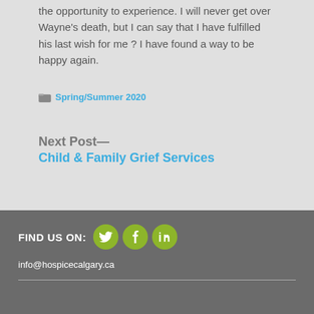the opportunity to experience. I will never get over Wayne's death, but I can say that I have fulfilled his last wish for me ? I have found a way to be happy again.
Spring/Summer 2020
Next Post—
Child & Family Grief Services
FIND US ON: [Twitter] [Facebook] [LinkedIn]
info@hospicecalgary.ca